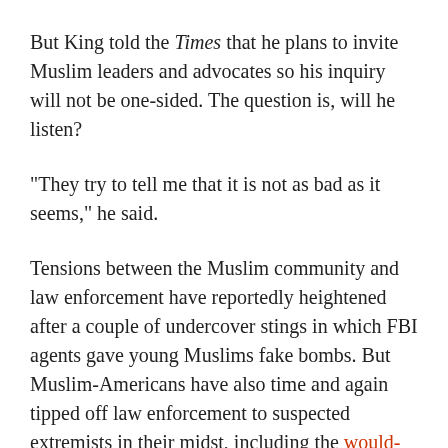But King told the Times that he plans to invite Muslim leaders and advocates so his inquiry will not be one-sided. The question is, will he listen?
"They try to tell me that it is not as bad as it seems," he said.
Tensions between the Muslim community and law enforcement have reportedly heightened after a couple of undercover stings in which FBI agents gave young Muslims fake bombs. But Muslim-Americans have also time and again tipped off law enforcement to suspected extremists in their midst, including the would-be bomber caught in an Oregon sting and the FBI informant-posing-